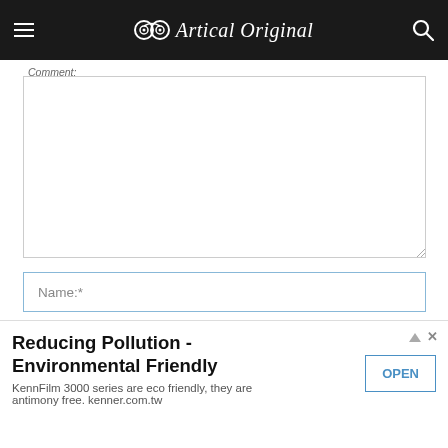Artical Original
Comment:
Name:*
Email:*
site:
Reducing Pollution - Environmental Friendly
KennFilm 3000 series are eco friendly, they are antimony free. kenner.com.tw